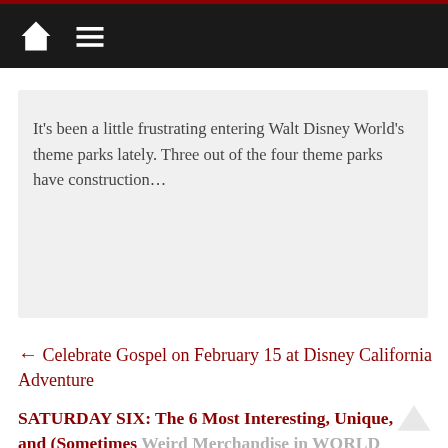Home | Menu
It's been a little frustrating entering Walt Disney World's theme parks lately. Three out of the four theme parks have construction…
← Celebrate Gospel on February 15 at Disney California Adventure
SATURDAY SIX: The 6 Most Interesting, Unique, and (Sometimes) Weird Merchandise in WORLD SHOWCASE